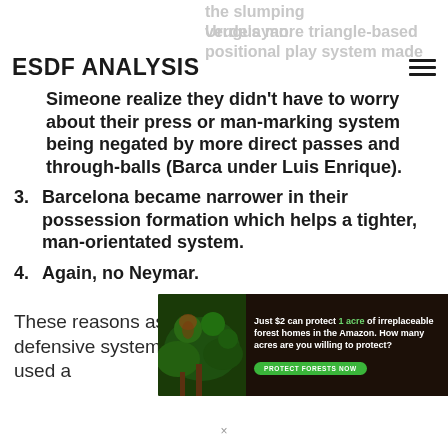the slumping Uruguayan.
verde's more triangle-based positional play system made
ESDF ANALYSIS
Simeone realize they didn't have to worry about their press or man-marking system being negated by more direct passes and through-balls (Barca under Luis Enrique).
Barcelona became narrower in their possession formation which helps a tighter, man-orientated system.
Again, no Neymar.
These reasons aside, let's get into the match and defensive system. Barcelona and Atletico both used a
[Figure (other): Advertisement banner: forest conservation ad showing 'Just $2 can protect 1 acre of irreplaceable forest homes in the Amazon. How many acres are you willing to protect?' with a green 'PROTECT FORESTS NOW' button, dark background with forest imagery.]